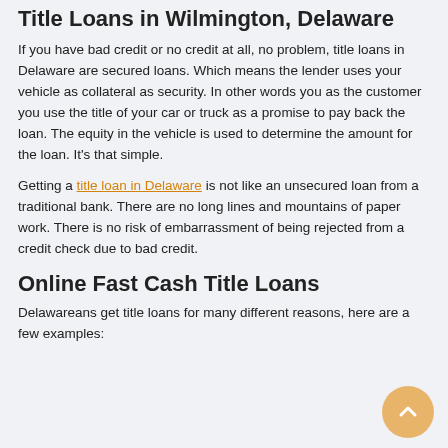Title Loans in Wilmington, Delaware
If you have bad credit or no credit at all, no problem, title loans in Delaware are secured loans.  Which means the lender uses your vehicle as collateral as security. In other words you as the customer you use the title of your car or truck as a promise to pay back the loan. The equity in the vehicle is used to determine the amount for the loan.  It's that simple.
Getting a title loan in Delaware is not like an unsecured loan from a traditional bank. There are no long lines and mountains of paper work. There is no risk of embarrassment of being rejected from a credit check due to bad credit.
Online Fast Cash Title Loans
Delawareans get title loans for many different reasons, here are a few examples: